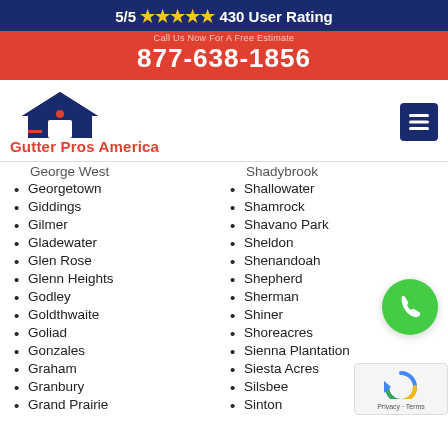5/5 ★★★★★ 430 User Rating
877-638-1856
[Figure (logo): Gutter Pros America logo with house icon and text]
George West
Georgetown
Giddings
Gilmer
Gladewater
Glen Rose
Glenn Heights
Godley
Goldthwaite
Goliad
Gonzales
Graham
Granbury
Grand Prairie
Shadybrook
Shallowater
Shamrock
Shavano Park
Sheldon
Shenandoah
Shepherd
Sherman
Shiner
Shoreacres
Sienna Plantation
Siesta Acres
Silsbee
Sinton